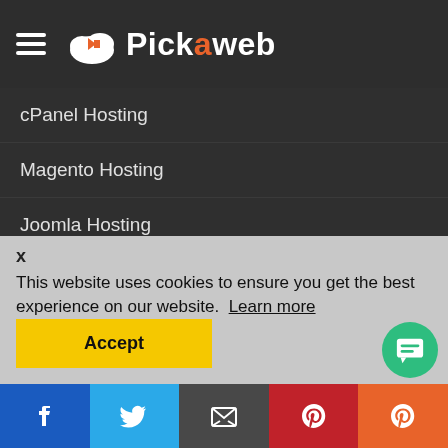Pickaweb
cPanel Hosting
Magento Hosting
Joomla Hosting
Drupal Hosting
PrestaShop Hosting
This website uses cookies to ensure you get the best experience on our website. Learn more
Accept